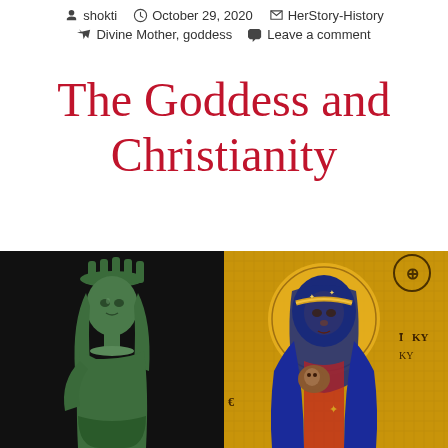shokti  October 29, 2020  HerStory-History  Divine Mother, goddess  Leave a comment
The Goddess and Christianity
[Figure (photo): Two images side by side: on the left, a bronze/green ancient Egyptian statue of a goddess with a crown against a black background; on the right, a Byzantine mosaic icon of the Virgin Mary (Madonna) with the Christ child, featuring gold mosaic background, blue robes, and Greek letters.]